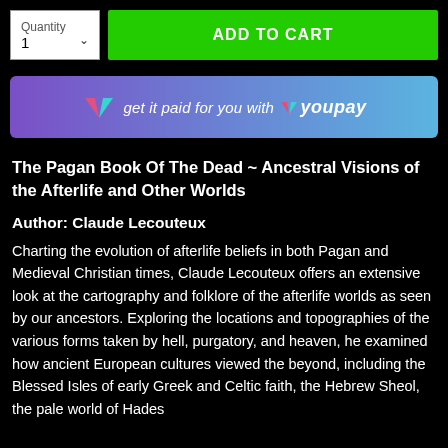[Figure (screenshot): E-commerce UI showing a quantity selector set to 1 and a green ADD TO CART button]
[Figure (infographic): YouPay promotional banner with gradient background reading 'get it paid for you with YouPay']
The Pagan Book Of The Dead ~ Ancestral Visions of the Afterlife and Other Worlds
Author: Claude Lecouteux
Charting the evolution of afterlife beliefs in both Pagan and Medieval Christian times, Claude Lecouteux offers an extensive look at the cartography and folklore of the afterlife worlds as seen by our ancestors. Exploring the locations and topographies of the various forms taken by hell, purgatory, and heaven, he examined how ancient European cultures viewed the beyond, including the Blessed Isles of early Greek and Celtic faith, the Hebrew Sheol, the pale world of Hades from Homer's Odyssey, Hel and Valhalla of the Norse, and